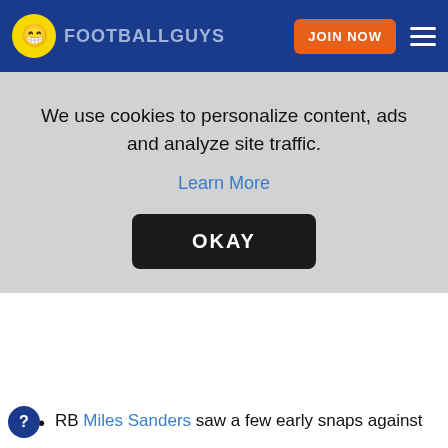FOOTBALLGUYS | JOIN NOW
if he gets hurt.
The Jets secondary was already a question mark, but if they cannot fill the void left by Carl Lawson, it will be a feast for opposing receivers this year.
Philadelphia Eagles | Depth Chart | Footballguys
We use cookies to personalize content, ads and analyze site traffic. Learn More OKAY
RB Miles Sanders saw a few early snaps against